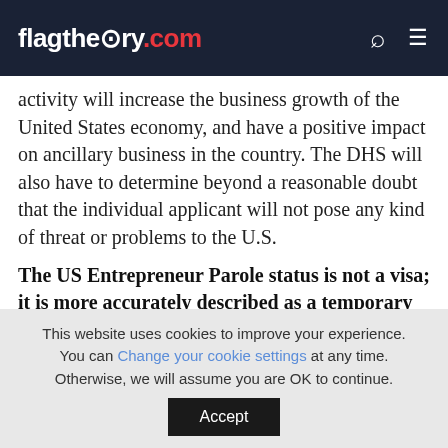flagtheory.com
activity will increase the business growth of the United States economy, and have a positive impact on ancillary business in the country. The DHS will also have to determine beyond a reasonable doubt that the individual applicant will not pose any kind of threat or problems to the U.S.
The US Entrepreneur Parole status is not a visa; it is more accurately described as a temporary permit to live and work in
This website uses cookies to improve your experience. You can Change your cookie settings at any time. Otherwise, we will assume you are OK to continue.